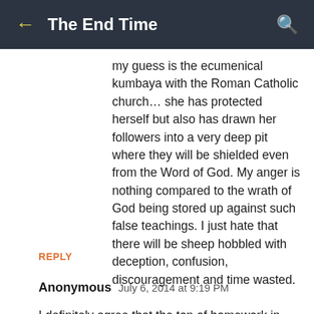← The End Time 🔍
my guess is the ecumenical kumbaya with the Roman Catholic church… she has protected herself but also has drawn her followers into a very deep pit where they will be shielded even from the Word of God. My anger is nothing compared to the wrath of God being stored up against such false teachings. I just hate that there will be sheep hobbled with deception, confusion, discouragement and time wasted.
REPLY
Anonymous July 6, 2014 at 9:19 PM
I definitely agree that the ton of homework in Beth Moore studies makes you feel like